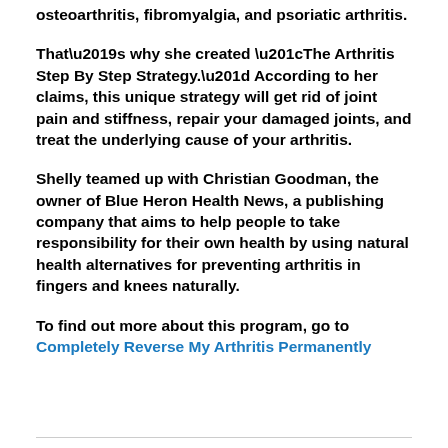osteoarthritis, fibromyalgia, and psoriatic arthritis.
That’s why she created “The Arthritis Step By Step Strategy.” According to her claims, this unique strategy will get rid of joint pain and stiffness, repair your damaged joints, and treat the underlying cause of your arthritis.
Shelly teamed up with Christian Goodman, the owner of Blue Heron Health News, a publishing company that aims to help people to take responsibility for their own health by using natural health alternatives for preventing arthritis in fingers and knees naturally.
To find out more about this program, go to Completely Reverse My Arthritis Permanently